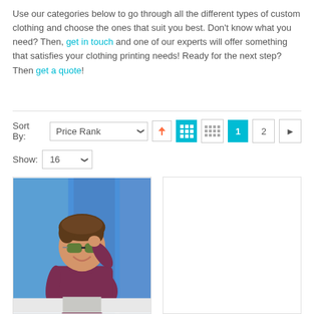Use our categories below to go through all the different types of custom clothing and choose the ones that suit you best. Don't know what you need? Then, get in touch and one of our experts will offer something that satisfies your clothing printing needs! Ready for the next step? Then get a quote!
[Figure (screenshot): E-commerce sort/filter controls: Sort By dropdown (Price Rank), up arrow button, grid view button (active, teal), list view button, page 1 button (active, teal), page 2 button, next arrow button. Show dropdown set to 16.]
[Figure (photo): Photo of a young boy wearing a maroon/burgundy sweatshirt and sunglasses, smiling, standing in front of a blue background.]
[Figure (photo): Empty white product card with light grey border.]